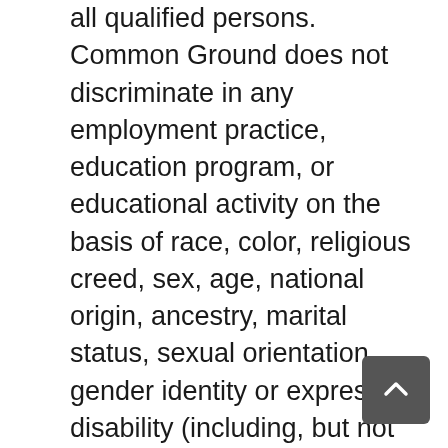all qualified persons. Common Ground does not discriminate in any employment practice, education program, or educational activity on the basis of race, color, religious creed, sex, age, national origin, ancestry, marital status, sexual orientation, gender identity or expression, disability (including, but not limited to, intellectual disability, past or present history of mental disorder, physical disability or learning disability), genetic information, or any other basis prohibited by Connecticut state and/or federal nondiscrimination laws.  Common Ground does not unlawfully discriminate in employment and licensing against